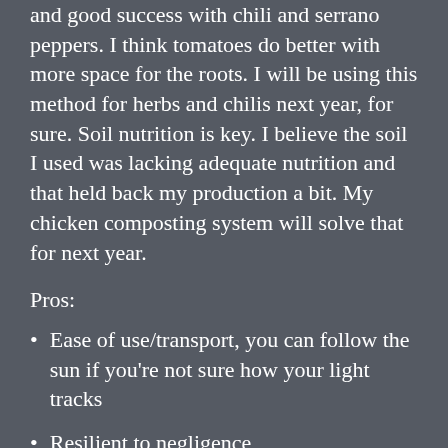and good success with chili and serrano peppers. I think tomatoes do better with more space for the roots. I will be using this method for herbs and chilis next year, for sure. Soil nutrition is key. I believe the soil I used was lacking adequate nutrition and that held back my production a bit. My chicken composting system will solve that for next year.
Pros:
Ease of use/transport, you can follow the sun if you're not sure how your light tracks
Resilient to negligence
Cons: